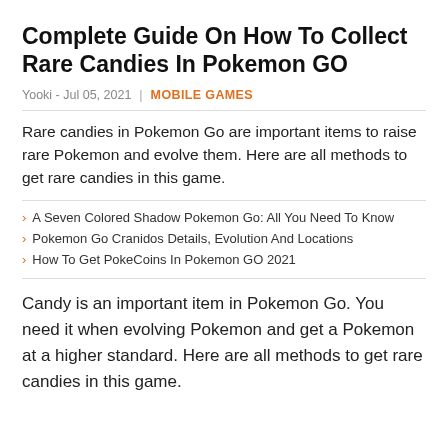Complete Guide On How To Collect Rare Candies In Pokemon GO
Yooki - Jul 05, 2021 | MOBILE GAMES
Rare candies in Pokemon Go are important items to raise rare Pokemon and evolve them. Here are all methods to get rare candies in this game.
A Seven Colored Shadow Pokemon Go: All You Need To Know
Pokemon Go Cranidos Details, Evolution And Locations
How To Get PokeCoins In Pokemon GO 2021
Candy is an important item in Pokemon Go. You need it when evolving Pokemon and get a Pokemon at a higher standard. Here are all methods to get rare candies in this game.